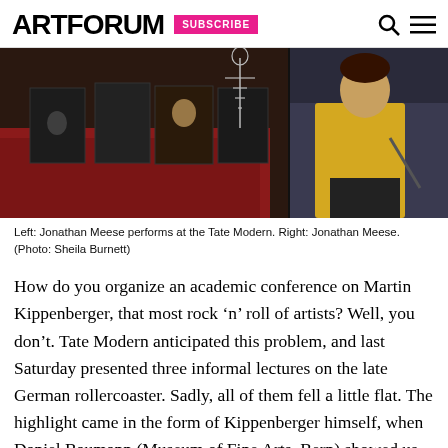ARTFORUM  SUBSCRIBE
[Figure (photo): Left side: Jonathan Meese performing at the Tate Modern, showing a table with red tablecloth, photographs/artworks hanging, and a skeleton prop. Right side: Jonathan Meese standing in a yellow shirt against a dark background.]
Left: Jonathan Meese performs at the Tate Modern. Right: Jonathan Meese. (Photo: Sheila Burnett)
How do you organize an academic conference on Martin Kippenberger, that most rock ‘n’ roll of artists? Well, you don’t. Tate Modern anticipated this problem, and last Saturday presented three informal lectures on the late German rollercoaster. Sadly, all of them fell a little flat. The highlight came in the form of Kippenberger himself, when Daniel Baumann (Museum of Fine Arts, Bern) showed us